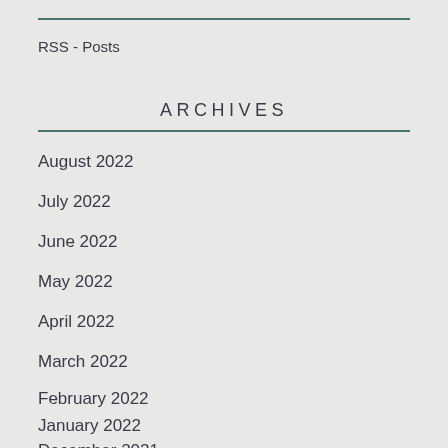RSS - Posts
ARCHIVES
August 2022
July 2022
June 2022
May 2022
April 2022
March 2022
February 2022
January 2022
December 2021